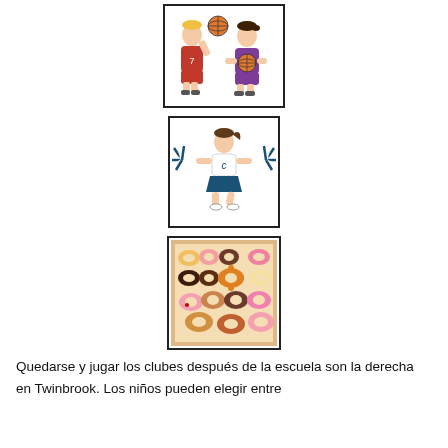[Figure (illustration): Cartoon of two children holding basketballs — one in a red jersey with number 7 spinning a ball, one in a purple jersey holding a ball]
[Figure (illustration): Cartoon of a cheerleader girl with blue and white pom-poms wearing a blue skirt and white top with letter C]
[Figure (illustration): Photo of a box of assorted donuts with various toppings and glazes]
Quedarse y jugar los clubes después de la escuela son la derecha en Twinbrook. Los niños pueden elegir entre